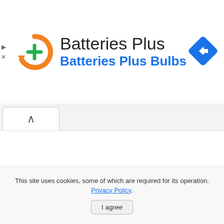[Figure (logo): Batteries Plus logo: orange circular arrow with green plus sign, company name 'Batteries Plus' in black large text, 'Batteries Plus Bulbs' in blue bold text below. Blue diamond navigation icon on the right.]
[Figure (other): Tab with up-chevron (caret) symbol indicating a collapsed/expanded panel]
This site uses cookies, some of which are required for its operation. Privacy Policy.
I agree